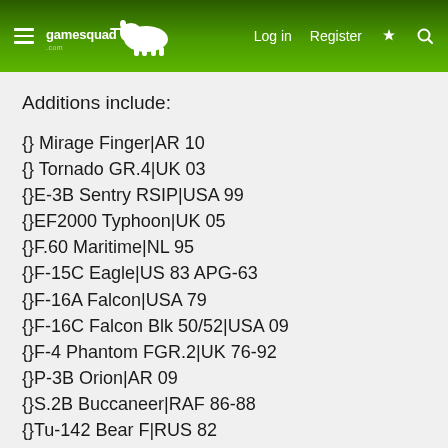gamesquad — Log in | Register
Additions include:
{} Mirage Finger|AR 10
{} Tornado GR.4|UK 03
{}E-3B Sentry RSIP|USA 99
{}EF2000 Typhoon|UK 05
{}F.60 Maritime|NL 95
{}F-15C Eagle|US 83 APG-63
{}F-16A Falcon|USA 79
{}F-16C Falcon Blk 50/52|USA 09
{}F-4 Phantom FGR.2|UK 76-92
{}P-3B Orion|AR 09
{}S.2B Buccaneer|RAF 86-88
{}Tu-142 Bear F|RUS 82
{}Tu-16K Badger G Mod|RUS 68